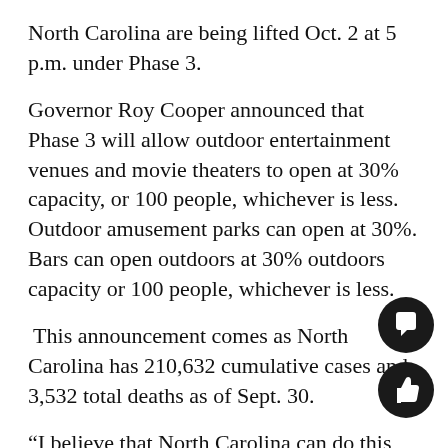North Carolina are being lifted Oct. 2 at 5 p.m. under Phase 3.
Governor Roy Cooper announced that Phase 3 will allow outdoor entertainment venues and movie theaters to open at 30% capacity, or 100 people, whichever is less. Outdoor amusement parks can open at 30%. Bars can open outdoors at 30% outdoors capacity or 100 people, whichever is less.
This announcement comes as North Carolina has 210,632 cumulative cases and 3,532 total deaths as of Sept. 30.
“I believe that North Carolina can do this safely,” Cooper said at a press conference Wednesday. so I am clear, every gathering carries the risk of spreading this disease. Being safe means being smart and making sure others around you are